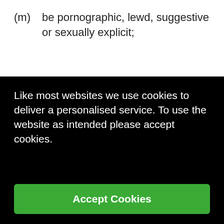(m)    be pornographic, lewd, suggestive or sexually explicit;
(n)    be untrue, false, inaccurate or misleading;
(o)    consist of or contain any instructions,
Like most websites we use cookies to deliver a personalised service. To use the website as intended please accept cookies.
Accept Cookies